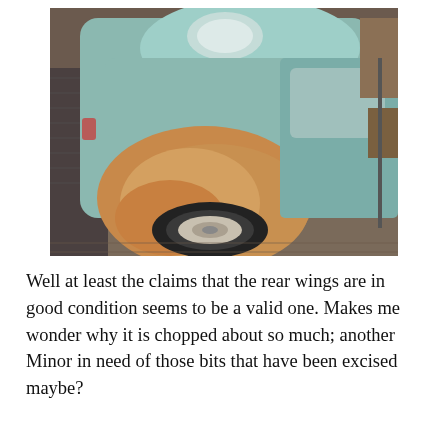[Figure (photo): A vintage car (Morris Minor) with heavily rusted and deteriorated front wheel arch/wing, light blue-green body paint, stored in a garage or barn setting. The wheel is visible with a worn tire and pale wheel.]
Well at least the claims that the rear wings are in good condition seems to be a valid one. Makes me wonder why it is chopped about so much; another Minor in need of those bits that have been excised maybe?